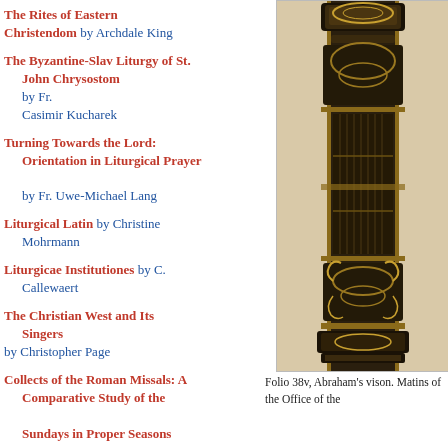The Rites of Eastern Christendom by Archdale King
The Byzantine-Slav Liturgy of St. John Chrysostom by Fr. Casimir Kucharek
Turning Towards the Lord: Orientation in Liturgical Prayer by Fr. Uwe-Michael Lang
Liturgical Latin by Christine Mohrmann
Liturgicae Institutiones by C. Callewaert
The Christian West and Its Singers by Christopher Page
Collects of the Roman Missals: A Comparative Study of the Sundays in Proper Seasons before and after the Second Vatican Council by Lauren Pristas
The Organic Development of the
[Figure (photo): A decorative carved architectural element or book spine with ornate gold and dark brown detailing, showing classical scrollwork and column-like ornamentation.]
Folio 38v, Abraham's vision. Matins of the Office of the